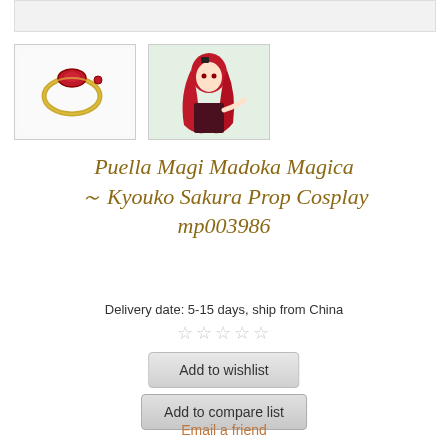[Figure (photo): Top image bar placeholder (partial product image cropped at top)]
[Figure (photo): Thumbnail of a gold ring with red gemstone (Kyouko Sakura soul gem prop)]
[Figure (illustration): Thumbnail of anime character Kyouko Sakura with long red hair in cosplay outfit]
Puella Magi Madoka Magica ～ Kyouko Sakura Prop Cosplay mp003986
Delivery date: 5-15 days, ship from China
☆☆☆☆☆
Add to wishlist
Add to compare list
Email a friend